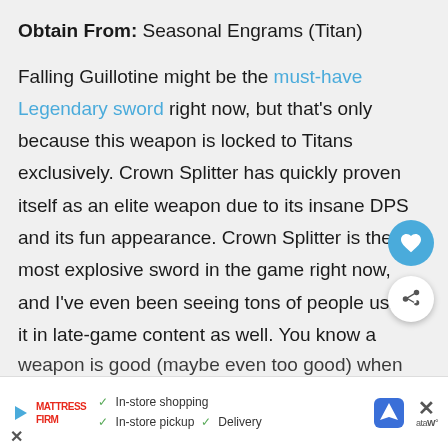Obtain From: Seasonal Engrams (Titan)
Falling Guillotine might be the must-have Legendary sword right now, but that’s only because this weapon is locked to Titans exclusively. Crown Splitter has quickly proven itself as an elite weapon due to its insane DPS and its fun appearance. Crown Splitter is the most explosive sword in the game right now, and I’ve even been seeing tons of people using it in late-game content as well. You know a weapon is good (maybe even too good) when
[Figure (infographic): Advertisement bar at the bottom with Mattress Firm logo, play button, in-store shopping/pickup/delivery checkmarks, navigation icon, and close buttons.]